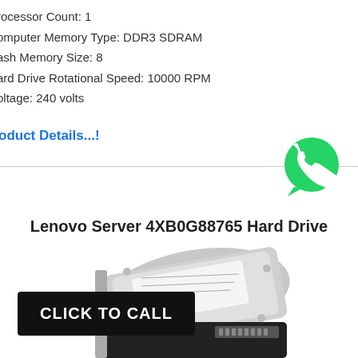Processor Count: 1
Computer Memory Type: DDR3 SDRAM
Flash Memory Size: 8
Hard Drive Rotational Speed: 10000 RPM
Voltage: 240 volts
Product Details...!
[Figure (logo): WhatsApp green phone icon]
Lenovo Server 4XB0G88765 Hard Drive
[Figure (photo): Photo of a 3.5-inch server hard disk drive, silver and black, viewed from an angle]
CLICK TO CALL